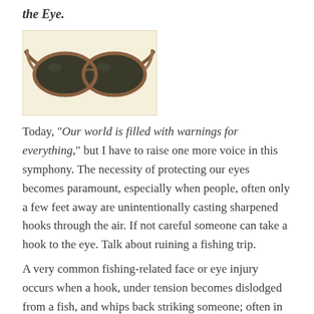the Eye.
[Figure (photo): A pair of dark lens sunglasses with tortoiseshell/brown frames, shown against a light cream/yellow background.]
Today, "Our world is filled with warnings for everything," but I have to raise one more voice in this symphony. The necessity of protecting our eyes becomes paramount, especially when people, often only a few feet away are unintentionally casting sharpened hooks through the air. If not careful someone can take a hook to the eye. Talk about ruining a fishing trip.
A very common fishing-related face or eye injury occurs when a hook, under tension becomes dislodged from a fish, and whips back striking someone; often in the hand, face or eye. This occurs most often as the captain attempts